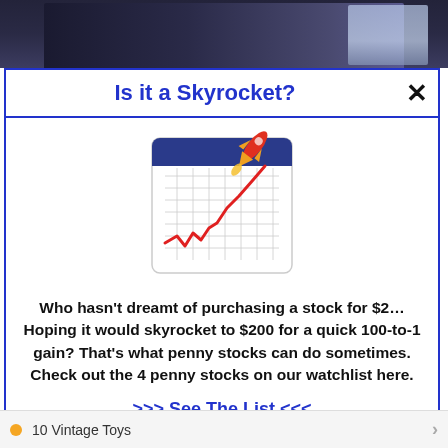[Figure (photo): Top portion of a webpage showing a dark background with a person in a suit, partially cropped at the bottom by a modal dialog.]
Is it a Skyrocket?
[Figure (illustration): Icon image of a calendar/chart showing an upward-trending red line graph with a rocket launching from the top right corner.]
Who hasn't dreamt of purchasing a stock for $2… Hoping it would skyrocket to $200 for a quick 100-to-1 gain? That's what penny stocks can do sometimes. Check out the 4 penny stocks on our watchlist here.
>>> See The List <<<
10 Vintage Toys